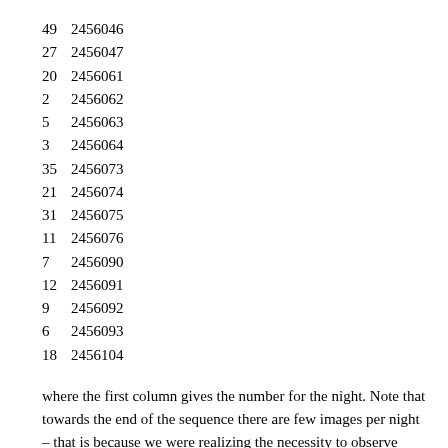| 49 | 2456046 |
| 27 | 2456047 |
| 20 | 2456061 |
| 2 | 2456062 |
| 5 | 2456063 |
| 3 | 2456064 |
| 35 | 2456073 |
| 21 | 2456074 |
| 31 | 2456075 |
| 11 | 2456076 |
| 7 | 2456090 |
| 12 | 2456091 |
| 9 | 2456092 |
| 6 | 2456093 |
| 18 | 2456104 |
where the first column gives the number for the night. Note that towards the end of the sequence there are few images per night – that is because we were realizing the necessity to observe 'stacks' rather than sequences of single images which results in fewer co-added images.